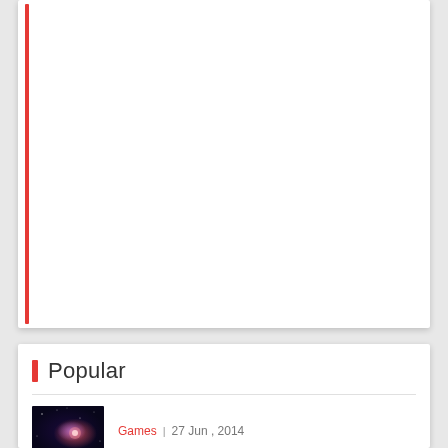[Figure (other): White card area, mostly blank/white content region with a thin red vertical accent bar on the left edge]
Popular
[Figure (photo): Dark space/galaxy themed thumbnail image with purple and pink light flares]
Games  |  27 Jun , 2014